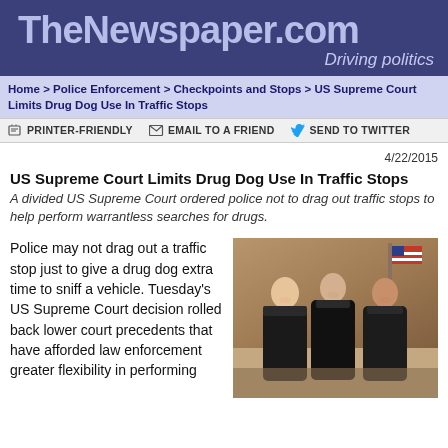TheNewspaper.com — Driving politics
Home > Police Enforcement > Checkpoints and Stops > US Supreme Court Limits Drug Dog Use In Traffic Stops
PRINTER-FRIENDLY   EMAIL TO A FRIEND   SEND TO TWITTER
4/22/2015
US Supreme Court Limits Drug Dog Use In Traffic Stops
A divided US Supreme Court ordered police not to drag out traffic stops to help perform warrantless searches for drugs.
Police may not drag out a traffic stop just to give a drug dog extra time to sniff a vehicle. Tuesday's US Supreme Court decision rolled back lower court precedents that have afforded law enforcement greater flexibility in performing
[Figure (photo): Three female US Supreme Court justices in black robes standing together, smiling, with an American flag in the background]